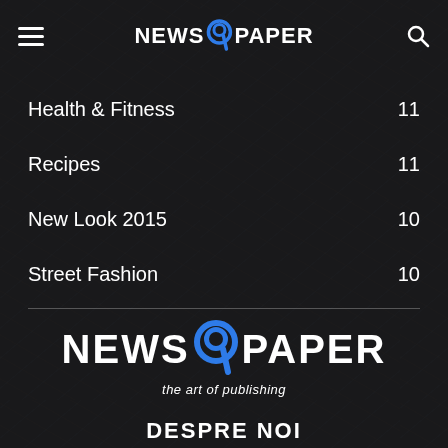NEWS 9 PAPER
Health & Fitness 11
Recipes 11
New Look 2015 10
Street Fashion 10
[Figure (logo): NEWS 9 PAPER logo with tagline 'the art of publishing']
DESPRE NOI